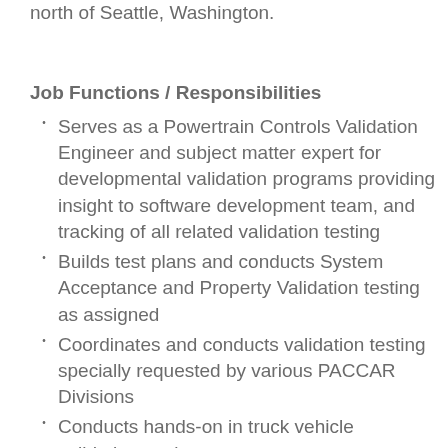north of Seattle, Washington.
Job Functions / Responsibilities
Serves as a Powertrain Controls Validation Engineer and subject matter expert for developmental validation programs providing insight to software development team, and tracking of all related validation testing
Builds test plans and conducts System Acceptance and Property Validation testing as assigned
Coordinates and conducts validation testing specially requested by various PACCAR Divisions
Conducts hands-on in truck vehicle validation testing
Participates in set up of tests, verifies that